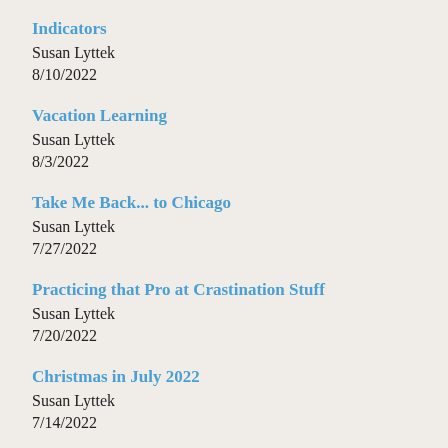Indicators
Susan Lyttek
8/10/2022
Vacation Learning
Susan Lyttek
8/3/2022
Take Me Back... to Chicago
Susan Lyttek
7/27/2022
Practicing that Pro at Crastination Stuff
Susan Lyttek
7/20/2022
Christmas in July 2022
Susan Lyttek
7/14/2022
Defining Prime